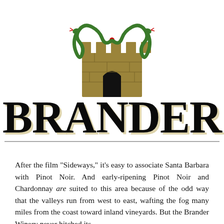[Figure (logo): Brander Winery logo: a medieval stone castle tower with a green serpent/dragon coiled around the top, rendered in a heraldic illustration style with gold-brown stonework and red accent at the top.]
BRANDER
After the film “Sideways,” it’s easy to associate Santa Barbara with Pinot Noir. And early-ripening Pinot Noir and Chardonnay are suited to this area because of the odd way that the valleys run from west to east, wafting the fog many miles from the coast toward inland vineyards. But the Brander Winery never hitched its